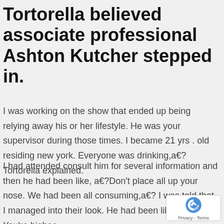Tortorella believed associate professional Ashton Kutcher stepped in.
I was working on the show that ended up being relying away his or her lifestyle. He was your supervisor during those times. I became 21 yrs . old residing new york. Everyone was drinking,a€? Tortorella explained.
I had attended consult him for several information and then he had been like, a€?Don't place all up your nose. We had been all consuming,a€? I was told that. I managed into their look. He had been like, a€?You're highes
[Figure (logo): reCAPTCHA badge with Privacy and Terms text]